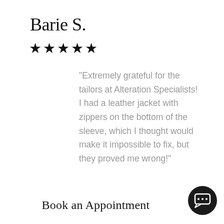Barie S.
★★★★★
"Extremely grateful for the tailors at Alteration Specialists! I had a leather jacket with zippers on the bottom of the sleeve, which I thought would make it impossible to fix, but they proved me wrong!"
[Figure (other): Left navigation arrow button (grey circle with left chevron)]
[Figure (other): Right navigation arrow button (grey circle with right chevron)]
Book an Appointment
[Figure (other): Dark circular chat button with speech bubble icon]